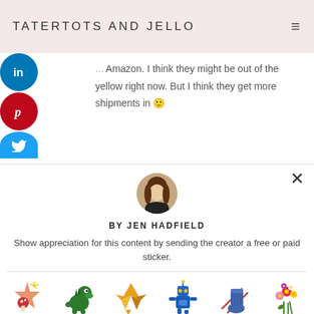TATERTOTS AND JELLO
the yellow right now. But I think they get more shipments in 🙂
[Figure (photo): Circular avatar photo of Jen Hadfield, a woman with long brown hair wearing a black top]
BY JEN HADFIELD
Show appreciation for this content by sending the creator a free or paid sticker.
[Figure (illustration): Row of six sticker options: Free (festive star/fireworks sticker), $1.00 (green dinosaur), $2.00 (gold origami crane), $4.00 (blue robot), $8.00 (blue knit sock with needles), $12.00 (flower bouquet)]